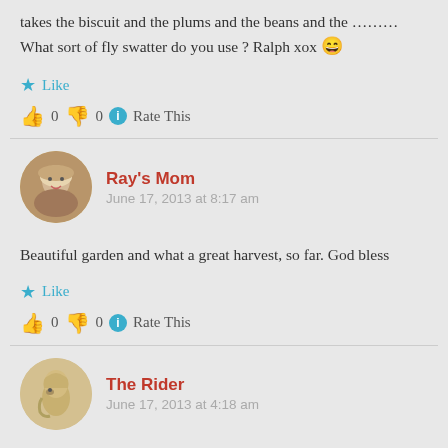takes the biscuit and the plums and the beans and the ......... What sort of fly swatter do you use ? Ralph xox 😄
★ Like
👍 0 👎 0 ℹ Rate This
Ray's Mom
June 17, 2013 at 8:17 am
Beautiful garden and what a great harvest, so far. God bless
★ Like
👍 0 👎 0 ℹ Rate This
The Rider
June 17, 2013 at 4:18 am